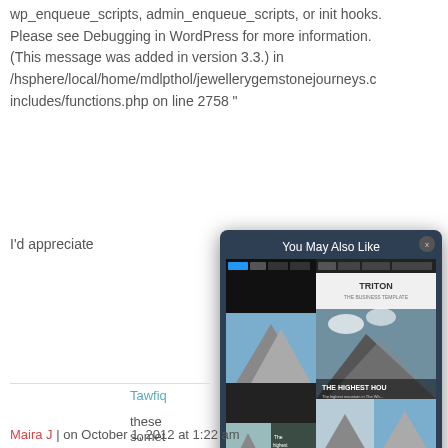wp_enqueue_scripts, admin_enqueue_scripts, or init hooks. Please see Debugging in WordPress for more information. (This message was added in version 3.3.) in /hsphere/local/home/mdlpthol/jewellerygemstonejourneys.c includes/functions.php on line 2758 "
I'd appreciate
[Figure (screenshot): Modal popup with heading 'You May Also Like' showing a WordPress theme screenshot for Triton PRO: WordPress Theme. The modal has a dark navy background, a close button (x) in the top right, theme screenshots of mountain landscapes, and a caption at the bottom reading 'Triton PRO: WordPress Theme'.]
Tawfiq
these some
Maira J on October 1, 2012 at 1:22 am